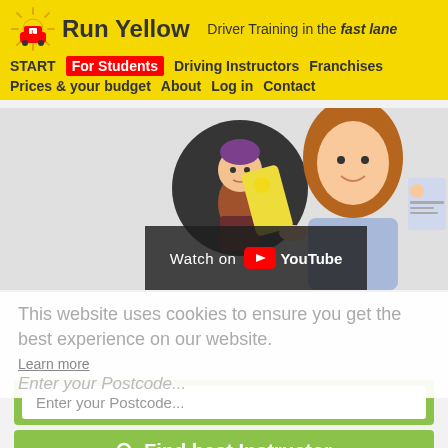Run Yellow — Driver Training in the fast lane
START | For Students | Driving Instructors | Franchises | Prices & your budget | About | Log in | Contact
[Figure (screenshot): Website screenshot showing animated character in circle, phone with Run Yellow logo, and woman holding phone and ID card. YouTube 'Watch on YouTube' overlay at bottom left of video area.]
This website uses cookies to ensure you get the best experience on our website.
Learn more
Enter your Postcode...
Enter your Postcode...
Find best Instructor